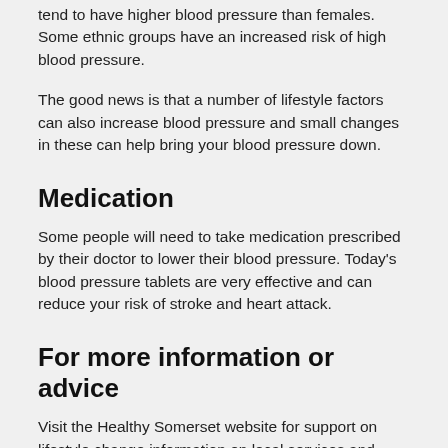tend to have higher blood pressure than females. Some ethnic groups have an increased risk of high blood pressure.
The good news is that a number of lifestyle factors can also increase blood pressure and small changes in these can help bring your blood pressure down.
Medication
Some people will need to take medication prescribed by their doctor to lower their blood pressure. Today’s blood pressure tablets are very effective and can reduce your risk of stroke and heart attack.
For more information or advice
Visit the Healthy Somerset website for support on lifestyle change information on local services and useful